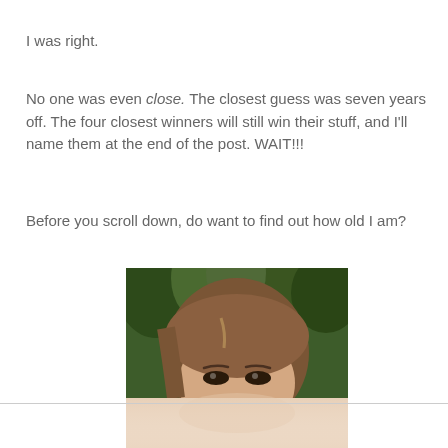I was right.
No one was even close. The closest guess was seven years off. The four closest winners will still win their stuff, and I'll name them at the end of the post. WAIT!!!
Before you scroll down, do want to find out how old I am?
[Figure (photo): Portrait photo of a young woman with long brown hair, green background (foliage), showing face from top of head to chin. Photo is partially cropped at the bottom with a reflection or fade effect.]